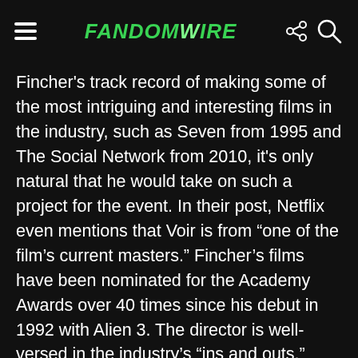FandomWire
Fincher's track record of making some of the most intriguing and interesting films in the industry, such as Seven from 1995 and The Social Network from 2010, it's only natural that he would take on such a project for the event. In their post, Netflix even mentions that Voir is from “one of the film’s current masters.” Fincher’s films have been nominated for the Academy Awards over 40 times since his debut in 1992 with Alien 3. The director is well-versed in the industry’s “ins and outs.”